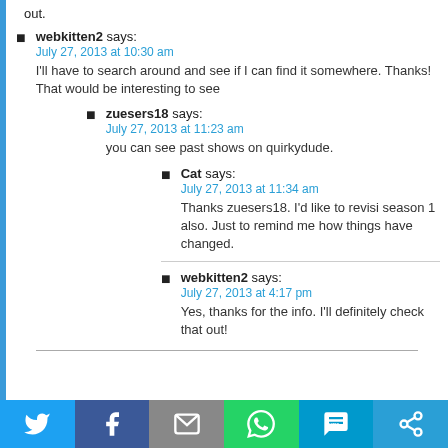out.
webkitten2 says:
July 27, 2013 at 10:30 am
I'll have to search around and see if I can find it somewhere. Thanks! That would be interesting to see
zuesers18 says:
July 27, 2013 at 11:23 am
you can see past shows on quirkydude.
Cat says:
July 27, 2013 at 11:34 am
Thanks zuesers18. I'd like to revisi season 1 also. Just to remind me how things have changed.
webkitten2 says:
July 27, 2013 at 4:17 pm
Yes, thanks for the info. I'll definitely check that out!
[Figure (other): Social sharing bar with Twitter, Facebook, Email, WhatsApp, SMS, and Share icons]